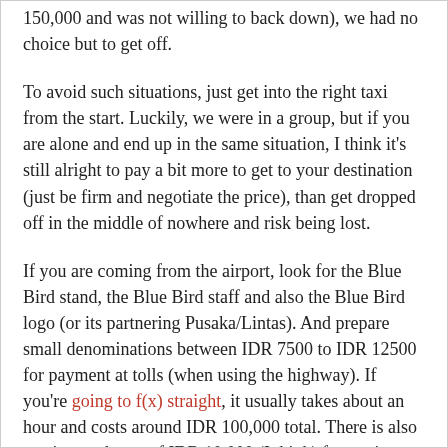150,000 and was not willing to back down), we had no choice but to get off.

To avoid such situations, just get into the right taxi from the start. Luckily, we were in a group, but if you are alone and end up in the same situation, I think it's still alright to pay a bit more to get to your destination (just be firm and negotiate the price), than get dropped off in the middle of nowhere and risk being lost.

If you are coming from the airport, look for the Blue Bird stand, the Blue Bird staff and also the Blue Bird logo (or its partnering Pusaka/Lintas). And prepare small denominations between IDR 7500 to IDR 12500 for payment at tolls (when using the highway). If you're going to f(x) straight, it usually takes about an hour and costs around IDR 100,000 total. There is also an airport charge of IDR 10,000 (I think) for getting taxis this way but sometimes the staff do forget to tell you. Anyway, if you are happy with the drivers, feel free to leave them a small